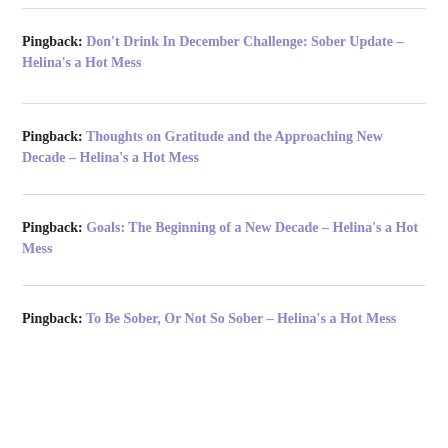Pingback: Don't Drink In December Challenge: Sober Update – Helina's a Hot Mess
Pingback: Thoughts on Gratitude and the Approaching New Decade – Helina's a Hot Mess
Pingback: Goals: The Beginning of a New Decade – Helina's a Hot Mess
Pingback: To Be Sober, Or Not So Sober – Helina's a Hot Mess